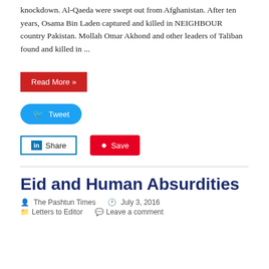knockdown. Al-Qaeda were swept out from Afghanistan. After ten years, Osama Bin Laden captured and killed in NEIGHBOUR country Pakistan. Mollah Omar Akhond and other leaders of Taliban found and killed in ...
Read More »
Tweet
Share
Save
Eid and Human Absurdities
The Pashtun Times   July 3, 2016   Letters to Editor   Leave a comment